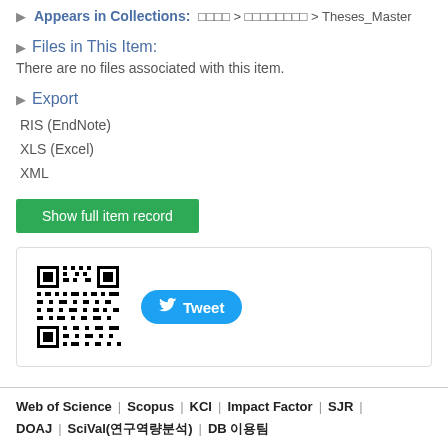Appears in Collections: [Korean] > [Korean] > Theses_Master
Files in This Item:
There are no files associated with this item.
Export
RIS (EndNote)
XLS (Excel)
XML
Show full item record
[Figure (other): QR code and Tweet button in a bordered box]
Web of Science | Scopus | KCI | Impact Factor | SJR | DOAJ | SciVal(연구역량분석) | DB 이용팀